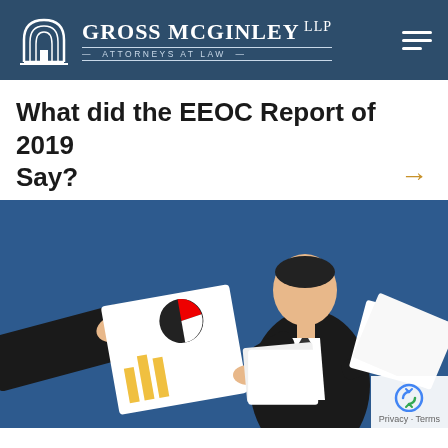Gross McGinley LLP — Attorneys at Law
What did the EEOC Report of 2019 Say?
[Figure (illustration): Illustration of a business person in a suit holding documents and reading them, with another hand presenting a report showing a pie chart, on a dark blue background.]